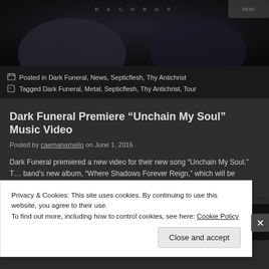[Figure (photo): Dark background image with 'RECORDS' text at top, partially visible band promotional image]
Posted in Dark Funeral, News, Septicflesh, Thy Antichrist
Tagged Dark Funeral, Metal, Septicflesh, Thy Antichrist, Tour
Dark Funeral Premiere “Unchain My Soul” Music Video
Posted by caemanamelio on June 1, 2016
Dark Funeral premiered a new video for their new song “Unchain My Soul.” T… band’s new album, “Where Shadows Forever Reign,” which will be released o…
[Figure (screenshot): Thumbnail/embed area with circular logo and dark background]
Privacy & Cookies: This site uses cookies. By continuing to use this website, you agree to their use.
To find out more, including how to control cookies, see here: Cookie Policy
Close and accept